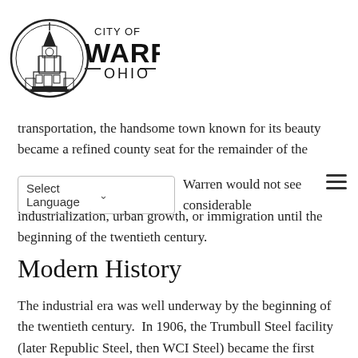[Figure (logo): City of Warren Ohio official logo — circular seal with a government building/clock tower inside a circular border, with text 'CITY OF WARREN OHIO' to the right in bold serif font with decorative horizontal rules]
transportation, the handsome town known for its beauty became a refined county seat for the remainder of the
Warren would not see considerable industrialization, urban growth, or immigration until the beginning of the twentieth century.
Modern History
The industrial era was well underway by the beginning of the twentieth century.  In 1906, the Trumbull Steel facility (later Republic Steel, then WCI Steel) became the first integrated steelworks built in Trumbull County. Immigration increased as a result of this new industry, and the surrounding farmland was subdivided into thriving residential neighborhoods. Between 1910 and 1920, population increased by 144 percent, giving Warren the distinction of being the fastest growing town in Ohio